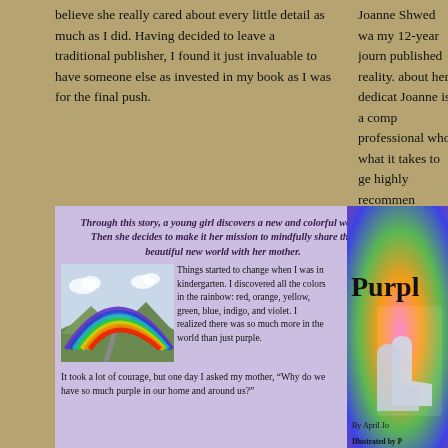believe she really cared about every little detail as much as I did. Having decided to leave a traditional publisher, I found it just invaluable to have someone else as invested in my book as I was for the final push.
Joanne Shwed wa... my 12-year journ... published reality. about her dedicat... Joanne is a comp... professional who what it takes to ge... highly recommen... publishing needs.
Through this story, a young girl discovers a new and colorful world. Then she decides to make it her mission to mindfully share this beautiful new world with her mother.
[Figure (illustration): Colorful rainbow landscape illustration with road leading into distance]
Things started to change when I was in kindergarten. I discovered all the colors in the rainbow: red, orange, yellow, green, blue, indigo, and violet. I realized there was so much more in the world than just purple.
It took a lot of courage, but one day I asked my mother, "Why do we have so much purple in our home and around us?"
[Figure (illustration): Book cover showing 'Purple' title with cowboy boots on colorful rainbow background, by April Jo..., Illustrated by P...]